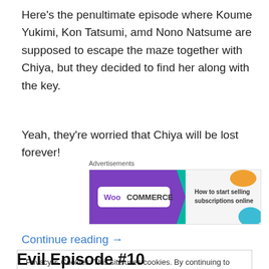Here's the penultimate episode where Koume Yukimi, Kon Tatsumi, amd Nono Natsume are supposed to escape the maze together with Chiya, but they decided to find her along with the key.
Yeah, they're worried that Chiya will be lost forever!
Advertisements
[Figure (screenshot): WooCommerce advertisement banner: purple background with WooCommerce logo on left, teal arrow shape, text 'How to start selling subscriptions online', orange and blue decorative shapes on right]
Continue reading →
Privacy & Cookies: This site uses cookies. By continuing to use this website, you agree to their use.
To find out more, including how to control cookies, see here: Cookie Policy
Evil Episode #10